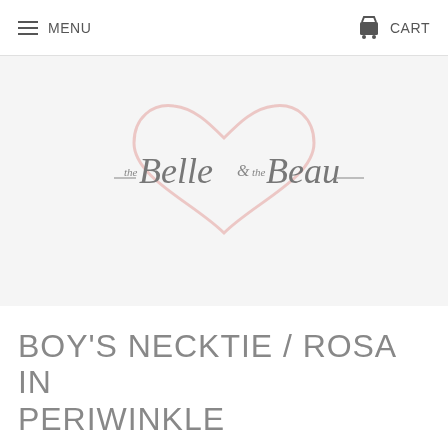MENU   CART
[Figure (logo): The Belle & the Beau script logo with a light pink heart outline in the background]
Home  /  Boy's Necktie  /  Boy's Necktie / Rosa In Periwinkle
BOY'S NECKTIE / ROSA IN PERIWINKLE